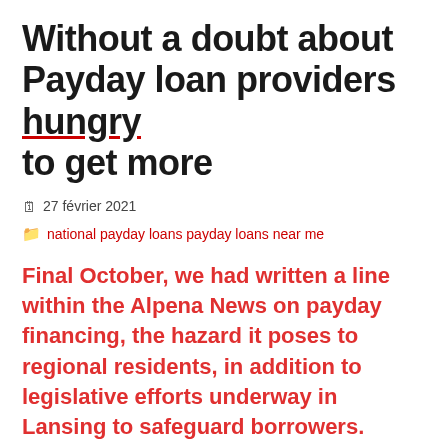Without a doubt about Payday loan providers hungry to get more
27 février 2021
national payday loans payday loans near me
Final October, we had written a line within the Alpena News on payday financing, the hazard it poses to regional residents, in addition to legislative efforts underway in Lansing to safeguard borrowers.